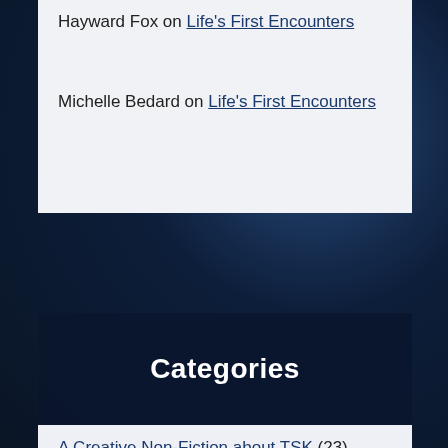Hayward Fox on Life's First Encounters
Michelle Bedard on Life's First Encounters
Categories
A Creative Non-Fiction about TSK (23)
Chapter Trial Balloons (2)
Companions in Time (129)
Fictional Forays (27)
Mailbag (43)
Passages (62)
Time, Space, and Knowledge (97)